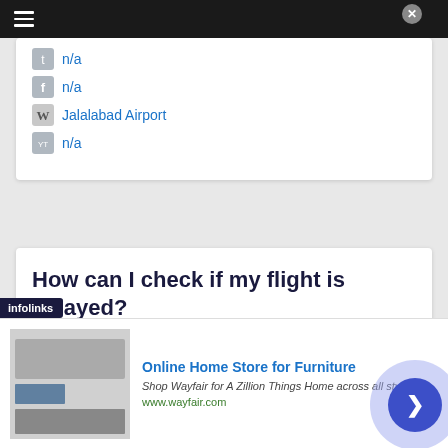Navigation menu bar
n/a
n/a
Jalalabad Airport
n/a
How can I check if my flight is delayed?
If you scroll further up you will find a table
Online Home Store for Furniture
Shop Wayfair for A Zillion Things Home across all styles
www.wayfair.com